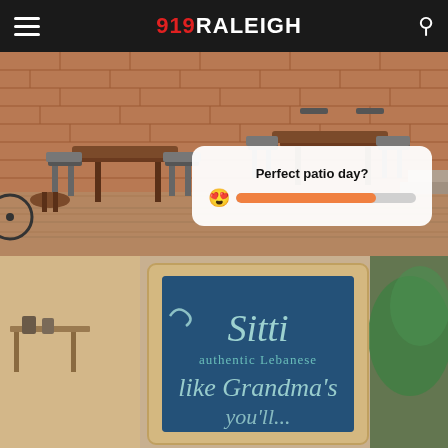919RALEIGH
[Figure (photo): Outdoor patio with wooden tables and metal chairs against a brick wall background, showing a restaurant patio setting]
Perfect patio day? 😍
[Figure (photo): Sitti authentic Lebanese restaurant chalkboard sign reading 'Sitti authentic Lebanese like Grandma's']